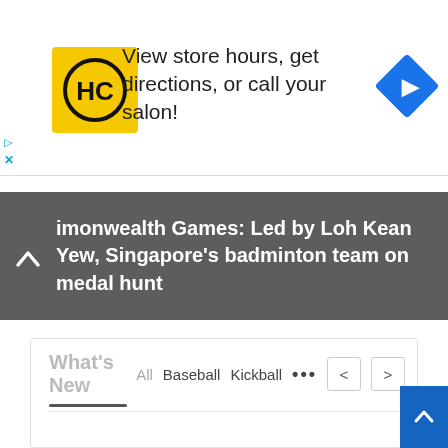[Figure (screenshot): HC (Hair Club) salon advertisement banner with yellow logo, text 'View store hours, get directions, or call your salon!', and a blue diamond navigation icon]
Commonwealth Games: Led by Loh Kean Yew, Singapore's badminton team on medal hunt
What's New
All  Baseball  Kickball  ...